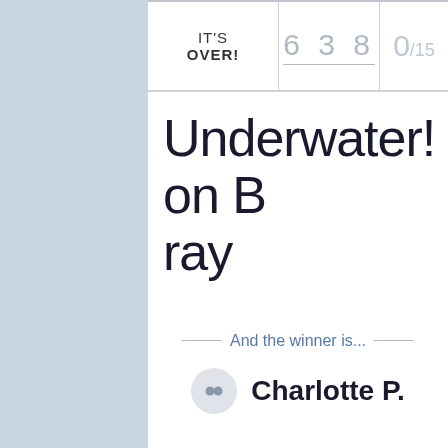IT'S OVER!  638  0/15
Underwater! on Blu-ray
And the winner is...
Charlotte P.